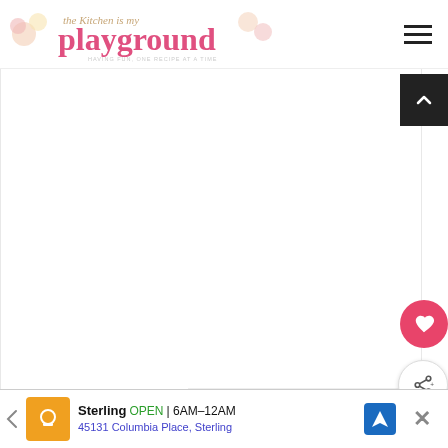The Kitchen is my Playground — HAVING FUN, ONE RECIPE AT A TIME
[Figure (photo): Blank white main content image area for a food blog recipe]
Finally, top the whole dessert with a layer of
[Figure (other): What's Next panel showing No-Bake Chocolate... recipe thumbnail]
Sterling OPEN | 6AM–12AM 45131 Columbia Place, Sterling